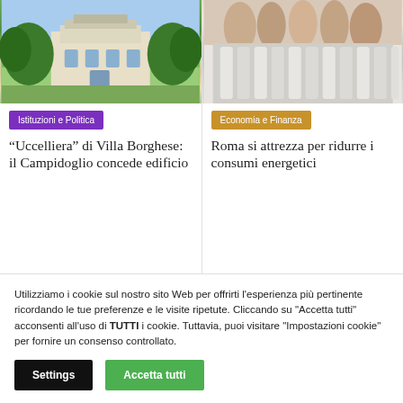[Figure (photo): Photo of Villa Borghese Uccelliera building with lush green trees]
[Figure (photo): Photo of hands warming over a white radiator]
Istituzioni e Politica
“Uccelliera” di Villa Borghese: il Campidoglio concede edificio
Economia e Finanza
Roma si attrezza per ridurre i consumi energetici
Utilizziamo i cookie sul nostro sito Web per offrirti l'esperienza più pertinente ricordando le tue preferenze e le visite ripetute. Cliccando su "Accetta tutti" acconsenti all'uso di TUTTI i cookie. Tuttavia, puoi visitare "Impostazioni cookie" per fornire un consenso controllato.
Settings
Accetta tutti